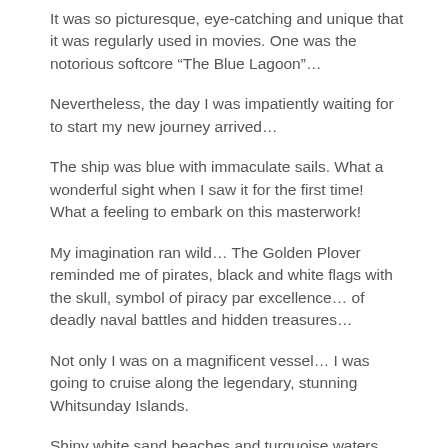It was so picturesque, eye-catching and unique that it was regularly used in movies. One was the notorious softcore “The Blue Lagoon”…
Nevertheless, the day I was impatiently waiting for to start my new journey arrived…
The ship was blue with immaculate sails. What a wonderful sight when I saw it for the first time! What a feeling to embark on this masterwork!
My imagination ran wild… The Golden Plover reminded me of pirates, black and white flags with the skull, symbol of piracy par excellence… of deadly naval battles and hidden treasures…
Not only I was on a magnificent vessel… I was going to cruise along the legendary, stunning Whitsunday Islands.
Shiny white sand beaches and turquoise waters were waiting for me…